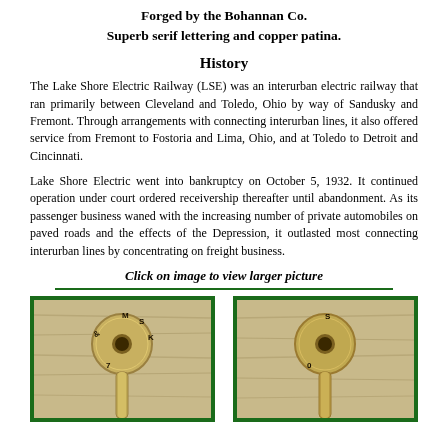Forged by the Bohannan Co.
Superb serif lettering and copper patina.
History
The Lake Shore Electric Railway (LSE) was an interurban electric railway that ran primarily between Cleveland and Toledo, Ohio by way of Sandusky and Fremont. Through arrangements with connecting interurban lines, it also offered service from Fremont to Fostoria and Lima, Ohio, and at Toledo to Detroit and Cincinnati.
Lake Shore Electric went into bankruptcy on October 5, 1932. It continued operation under court ordered receivership thereafter until abandonment. As its passenger business waned with the increasing number of private automobiles on paved roads and the effects of the Depression, it outlasted most connecting interurban lines by concentrating on freight business.
Click on image to view larger picture
[Figure (photo): Two antique brass/bronze switch keys with circular heads showing lettering, photographed against a wood-grain background. Left key shows 'MSK' lettering around hole, right key shows 'S' lettering around hole.]